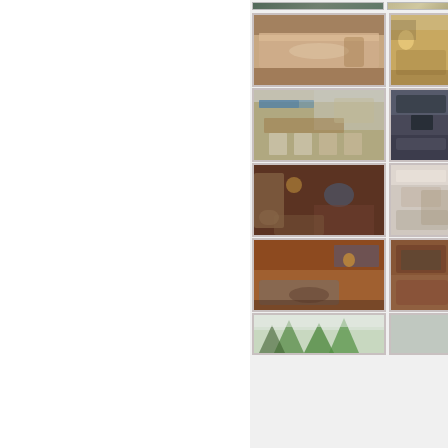[Figure (photo): Grid of interior and exterior property photos showing bathroom, bedroom, dining area, kitchen, living rooms, and outdoor area with trees]
[Figure (photo): Bathroom with vanity counter and mirror]
[Figure (photo): Bedroom with warm lighting and lamp]
[Figure (photo): Dining area with wooden table and chairs, kitchen bar area in background with art on wall]
[Figure (photo): Dark living room interior with fireplace or TV]
[Figure (photo): Dark wood-paneled interior room with warm lighting]
[Figure (photo): Bright kitchen or bar area]
[Figure (photo): Living room with brown sofa and coffee table, warm wood paneling]
[Figure (photo): Exterior porch or deck area]
[Figure (photo): Snowy outdoor area with pine trees]